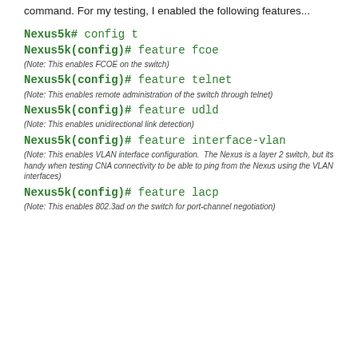command. For my testing, I enabled the following features...
Nexus5k# config t
Nexus5k(config)# feature fcoe
(Note: This enables FCOE on the switch)
Nexus5k(config)# feature telnet
(Note: This enables remote administration of the switch through telnet)
Nexus5k(config)# feature udld
(Note: This enables unidirectional link detection)
Nexus5k(config)# feature interface-vlan
(Note: This enables VLAN interface configuration. The Nexus is a layer 2 switch, but its handy when testing CNA connectivity to be able to ping from the Nexus using the VLAN interfaces)
Nexus5k(config)# feature lacp
(Note: This enables 802.3ad on the switch for port-channel negotiation)